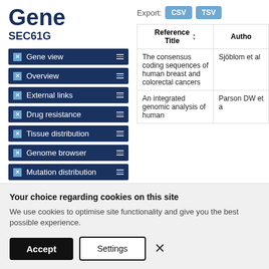Gene
SEC61G
Gene view
Overview
External links
Drug resistance
Tissue distribution
Genome browser
Mutation distribution
| Reference Title | Author |
| --- | --- |
| The consensus coding sequences of human breast and colorectal cancers | Sjöblom et al |
| An integrated genomic analysis of human | Parson DW et a |
Your choice regarding cookies on this site
We use cookies to optimise site functionality and give you the best possible experience.